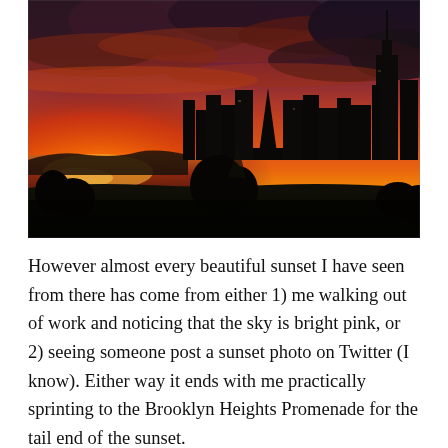[Figure (photo): Dramatic sunset photo showing the Manhattan skyline silhouetted against a vivid orange-red-purple sky with dark clouds. A park and waterfront are visible in the foreground.]
However almost every beautiful sunset I have seen from there has come from either 1) me walking out of work and noticing that the sky is bright pink, or 2) seeing someone post a sunset photo on Twitter (I know). Either way it ends with me practically sprinting to the Brooklyn Heights Promenade for the tail end of the sunset.